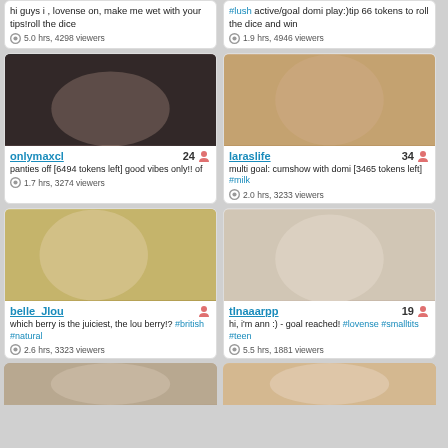[Figure (screenshot): Webcam streaming site grid layout showing streamer cards with thumbnails, usernames, ages, descriptions, and viewer counts]
hi guys i , lovense on, make me wet with your tips!roll the dice
5.0 hrs, 4298 viewers
#lush active/goal domi play:)tip 66 tokens to roll the dice and win
1.9 hrs, 4946 viewers
onlymaxcl 24
panties off [6494 tokens left] good vibes only!! of
1.7 hrs, 3274 viewers
laraslife 34
multi goal: cumshow with domi [3465 tokens left] #milk
2.0 hrs, 3233 viewers
belle_Jlou
which berry is the juiciest, the lou berry!? #british #natural
2.6 hrs, 3323 viewers
tInaaarpp 19
hi, i'm ann :) - goal reached! #lovense #smalltits #teen
5.5 hrs, 1881 viewers